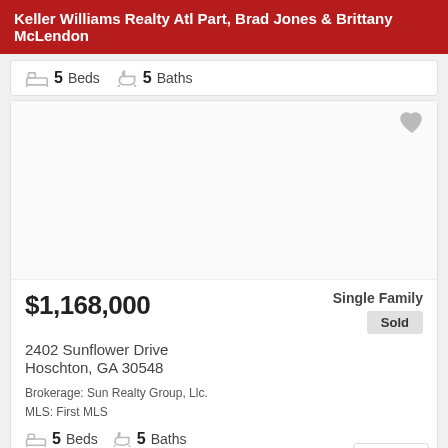Keller Williams Realty Atl Part, Brad Jones & Brittany McLendon
5 Beds  5 Baths
[Figure (photo): Property listing photo area (blank/white) with a heart/favorite icon in the top right corner]
$1,168,000
Single Family
Sold
2402 Sunflower Drive
Hoschton, GA 30548
Brokerage: Sun Realty Group, Llc.
MLS: First MLS
5 Beds  5 Baths